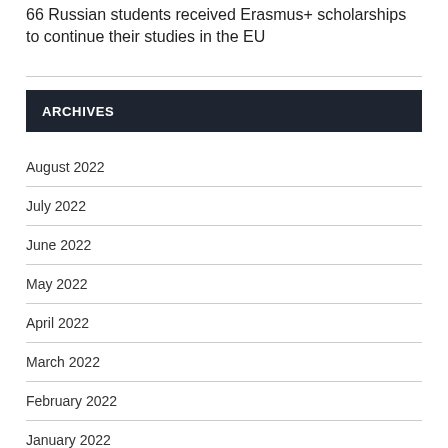66 Russian students received Erasmus+ scholarships to continue their studies in the EU
ARCHIVES
August 2022
July 2022
June 2022
May 2022
April 2022
March 2022
February 2022
January 2022
December 2021